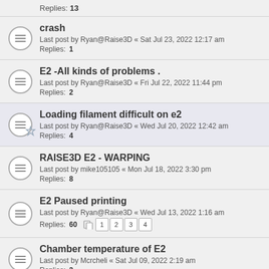Replies: 13
crash
Last post by Ryan@Raise3D « Sat Jul 23, 2022 12:17 am
Replies: 1
E2 -All kinds of problems .
Last post by Ryan@Raise3D « Fri Jul 22, 2022 11:44 pm
Replies: 2
Loading filament difficult on e2
Last post by Ryan@Raise3D « Wed Jul 20, 2022 12:42 am
Replies: 4
RAISE3D E2 - WARPING
Last post by mike105105 « Mon Jul 18, 2022 3:30 pm
Replies: 8
E2 Paused printing
Last post by Ryan@Raise3D « Wed Jul 13, 2022 1:16 am
Replies: 60
Chamber temperature of E2
Last post by Mcrcheli « Sat Jul 09, 2022 2:19 am
Replies: 2